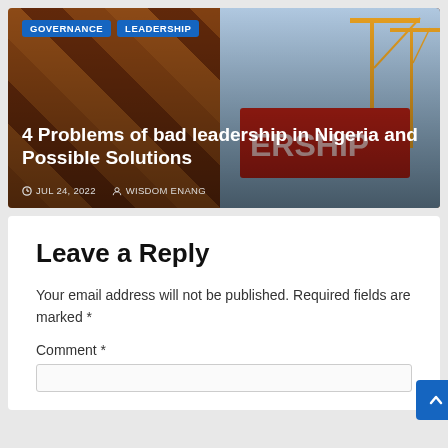[Figure (photo): Article thumbnail image with construction cranes and red 3D LEADERSHIP letters, overlaid with article title and metadata. Tags: GOVERNANCE, LEADERSHIP. Title: 4 Problems of bad leadership in Nigeria and Possible Solutions. Date: JUL 24, 2022. Author: WISDOM ENANG.]
Leave a Reply
Your email address will not be published. Required fields are marked *
Comment *